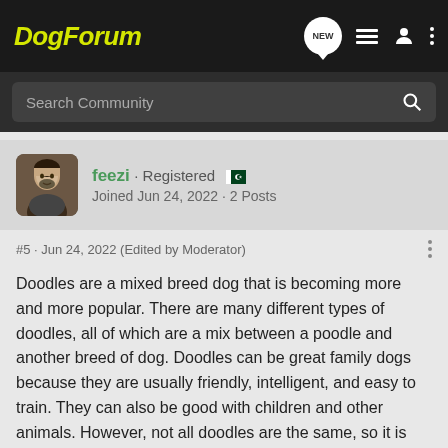DogForum
Search Community
feezi · Registered
Joined Jun 24, 2022 · 2 Posts
#5 · Jun 24, 2022 (Edited by Moderator)
Doodles are a mixed breed dog that is becoming more and more popular. There are many different types of doodles, all of which are a mix between a poodle and another breed of dog. Doodles can be great family dogs because they are usually friendly, intelligent, and easy to train. They can also be good with children and other animals. However, not all doodles are the same, so it is important to do your research before you decide to get one. Some doodles may have health problems or